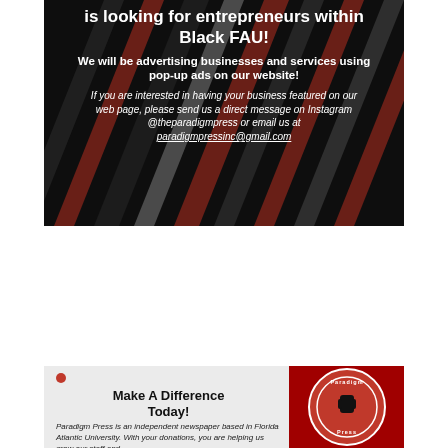[Figure (infographic): Dark banner with diagonal red and gray stripes background. Text reads: 'is looking for entrepreneurs within Black FAU!' followed by 'We will be advertising businesses and services using pop-up ads on our website!' and contact info 'If you are interested in having your business featured on our web page, please send us a direct message on Instagram @theparadigmpress or email us at paradigmpressinc@gmail.com']
[Figure (infographic): Bottom card with light gray background on left side and red background on right side. Left side has red dot, bold text 'Make A Difference Today!' and body text about Paradigm Press being an independent newspaper. Right side shows Paradigm Press logo circle.]